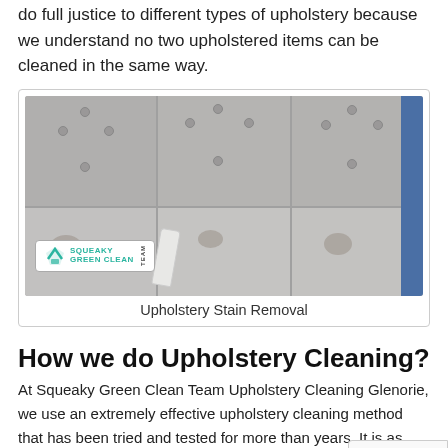do full justice to different types of upholstery because we understand no two upholstered items can be cleaned in the same way.
[Figure (photo): Photo of grey tufted upholstery chairs being cleaned, with a white cleaning cloth and Squeaky Green Clean Team logo badge in bottom left corner.]
Upholstery Stain Removal
How we do Upholstery Cleaning?
At Squeaky Green Clean Team Upholstery Cleaning Glenorie, we use an extremely effective upholstery cleaning method that has been tried and tested for more than years. It is as follows:
1. The upholstery cleaning process starts the moment you